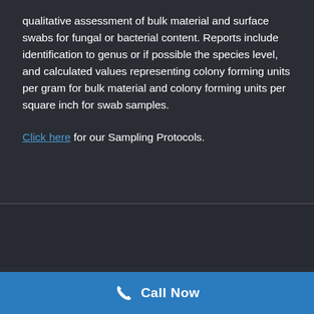qualitative assessment of bulk material and surface swabs for fungal or bacterial content. Reports include identification to genus or if possible the species level, and calculated values representing colony forming units per gram for bulk material and colony forming units per square inch for swab samples.
Click here for our Sampling Protocols.
AIRMAX MAP LOCATION
Call Now